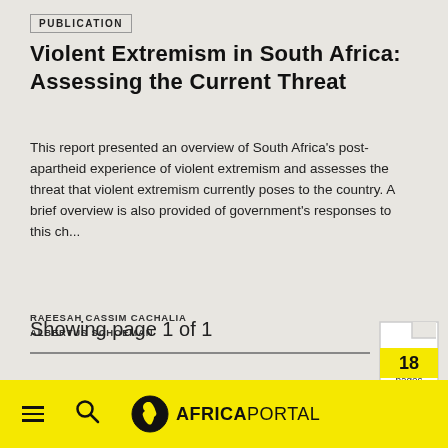PUBLICATION
Violent Extremism in South Africa: Assessing the Current Threat
This report presented an overview of South Africa's post-apartheid experience of violent extremism and assesses the threat that violent extremism currently poses to the country. A brief overview is also provided of government's responses to this ch...
RAEESAH CASSIM CACHALIA
ALBERTUS SCHOEMAN
[Figure (other): Document icon showing '18 pages' in yellow]
Showing page 1 of 1
AFRICAPORTAL